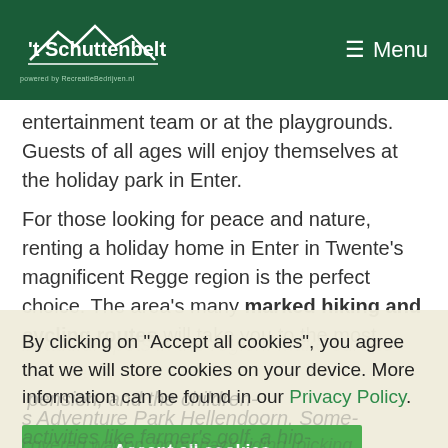[Figure (logo): 't Schuttenbelt logo with mountain graphic and menu button on dark green header]
entertainment team or at the playgrounds. Guests of all ages will enjoy themselves at the holiday park in Enter.
For those looking for peace and nature, renting a holiday home in Enter in Twente's magnificent Regge region is the perfect choice. The area's many marked hiking and cycling routes will take you to the most
By clicking on "Accept all cookies", you agree that we will store cookies on your device. More information can be found in our Privacy Policy.
Accept all cookies